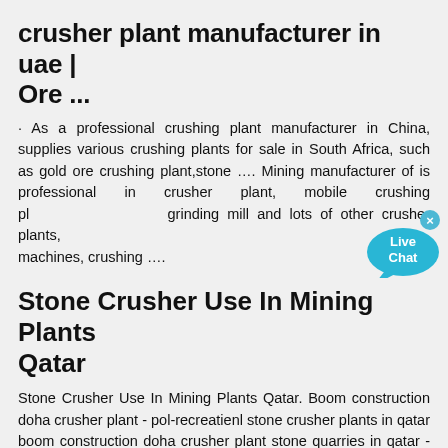crusher plant manufacturer in uae | Ore ...
· As a professional crushing plant manufacturer in China, supplies various crushing plants for sale in South Africa, such as gold ore crushing plant,stone …. Mining manufacturer of is professional in crusher plant, mobile crushing plant, grinding mill and lots of other crusher plants, machines, crushing ….
[Figure (other): Live Chat button/bubble overlay]
Stone Crusher Use In Mining Plants Qatar
Stone Crusher Use In Mining Plants Qatar. Boom construction doha crusher plant - pol-recreatienl stone crusher plants in qatar boom construction doha crusher plant stone quarries in qatar - crusherqatar quarry company crushing machine manufacturer in qatar
used mobile crusher qi 440 in qatar